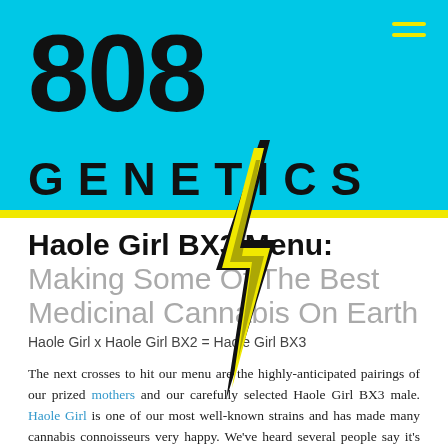[Figure (logo): 808 Genetics logo on cyan/blue background with yellow lightning bolt graphic]
Haole Girl BX3 Menu: Making Some Of The Best Medicinal Cannabis On Earth
Haole Girl x Haole Girl BX2 = Haole Girl BX3
The next crosses to hit our menu are the highly-anticipated pairings of our prized mothers and our carefully selected Haole Girl BX3 male. Haole Girl is one of our most well-known strains and has made many cannabis connoisseurs very happy. We've heard several people say it's the only strain they want in their garden. And it's one of 808 Genetics' go-to favorites as well.